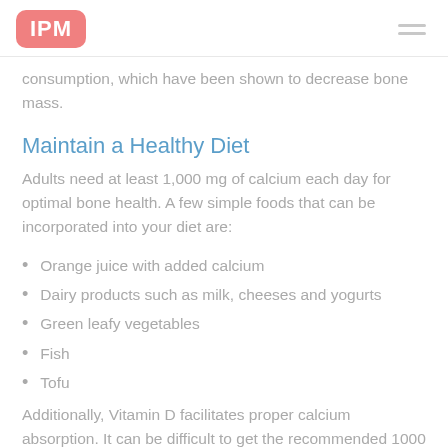IPM
consumption, which have been shown to decrease bone mass.
Maintain a Healthy Diet
Adults need at least 1,000 mg of calcium each day for optimal bone health. A few simple foods that can be incorporated into your diet are:
Orange juice with added calcium
Dairy products such as milk, cheeses and yogurts
Green leafy vegetables
Fish
Tofu
Additionally, Vitamin D facilitates proper calcium absorption. It can be difficult to get the recommended 1000 IU of Vitamin D, so often